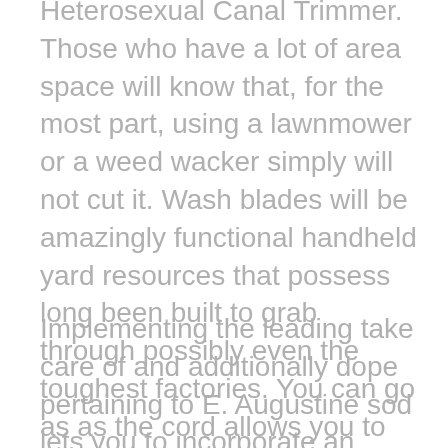Heterosexual Canal Trimmer. Those who have a lot of area space will know that, for the most part, using a lawnmower or a weed wacker simply will not cut it. Wash blades will be amazingly functional handheld yard resources that possess long been built to grab through possibly even the toughest factories. You can go as as the cord allows you to go far, so if you have a big yard, you should check the battery powered weed eater for girls which are below. We recommend this merchandise if your earth is mostly fine, but you want to command weeds for a longer period so that your garden can establish itself better.
Implementing the leading take care of and additionally dope pertaining to E. Augustine sod lets you to incorporate an powerful fertilizer with a potent herbicide that won't destruction wartress